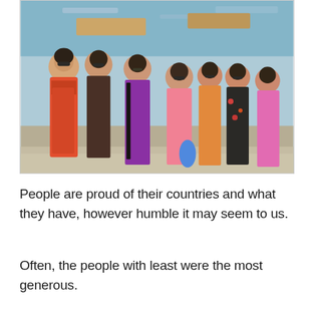[Figure (photo): A group of women wearing traditional Vietnamese Ao Dai dresses in various colors (red, brown, purple, pink, orange, black floral, pink/purple) standing together outdoors near a waterway or river, some wearing sunglasses, posing for a photo.]
People are proud of their countries and what they have, however humble it may seem to us.
Often, the people with least were the most generous.